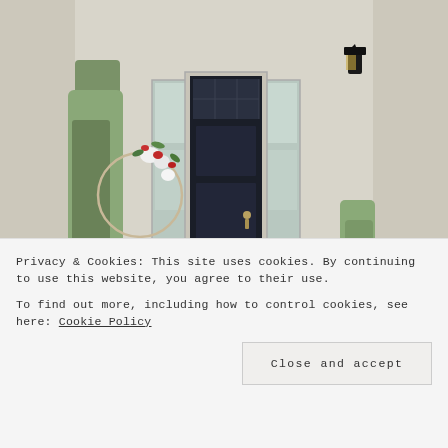[Figure (photo): Photo of a house front door — a dark navy/black front door with sidelights and transom window, decorated with a hoop wreath with red and white flowers, a white porch chair, and greenery. Beige/cream stucco exterior with a black lantern wall sconce.]
How Do I Find the Right House for Myself and
Privacy & Cookies: This site uses cookies. By continuing to use this website, you agree to their use.
To find out more, including how to control cookies, see here: Cookie Policy
Close and accept